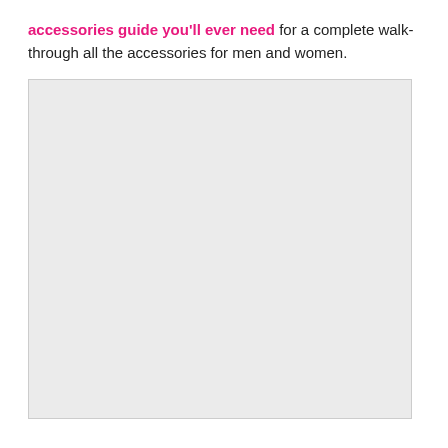accessories guide you'll ever need for a complete walk-through all the accessories for men and women.
[Figure (photo): A large light gray placeholder image region, likely containing a photo of accessories for men and women.]